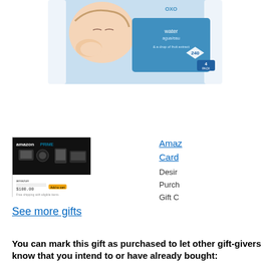[Figure (photo): Product photo of baby wipes package - blue packaging showing sleeping baby, 240 count 4-pack, water/agua/eau formula with fruit extract]
[Figure (photo): Amazon gift card thumbnail showing black background with Amazon Prime logo and electronics imagery, showing $100.00 value]
Amazon Gift Card - Design, Purchase, Gift Card
See more gifts
You can mark this gift as purchased to let other gift-givers know that you intend to or have already bought:
Your name: (Required):
Your e-mail address: (Required): We will not spam you. Used for purchase confirmation only.